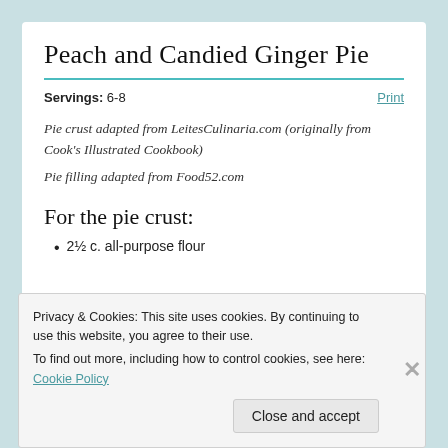Peach and Candied Ginger Pie
Servings: 6-8
Print
Pie crust adapted from LeitesCulinaria.com (originally from Cook's Illustrated Cookbook)
Pie filling adapted from Food52.com
For the pie crust:
2½ c. all-purpose flour
Privacy & Cookies: This site uses cookies. By continuing to use this website, you agree to their use.
To find out more, including how to control cookies, see here: Cookie Policy
Close and accept